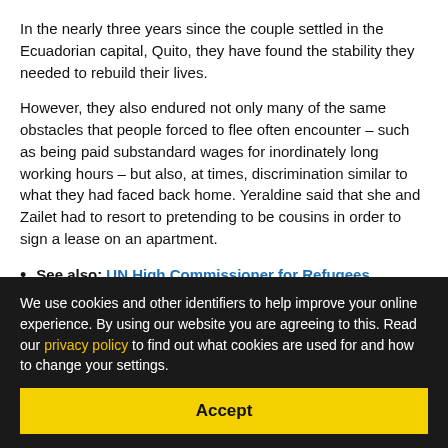In the nearly three years since the couple settled in the Ecuadorian capital, Quito, they have found the stability they needed to rebuild their lives.
However, they also endured not only many of the same obstacles that people forced to flee often encounter – such as being paid substandard wages for inordinately long working hours – but also, at times, discrimination similar to what they had faced back home. Yeraldine said that she and Zailet had to resort to pretending to be cousins in order to sign a lease on an apartment.
See also: UN High Commissioner for Refugees
We use cookies and other identifiers to help improve your online experience. By using our website you are agreeing to this. Read our privacy policy to find out what cookies are used for and how to change your settings.
Accept